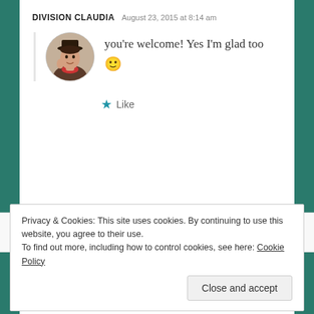DIVISION CLAUDIA   August 23, 2015 at 8:14 am
you're welcome! Yes I'm glad too 🙂
★ Like
[Figure (infographic): Advertisement banner with text 'everything you need.' on a blue-to-pink gradient background]
REPORT THIS AD
Privacy & Cookies: This site uses cookies. By continuing to use this website, you agree to their use. To find out more, including how to control cookies, see here: Cookie Policy
Close and accept